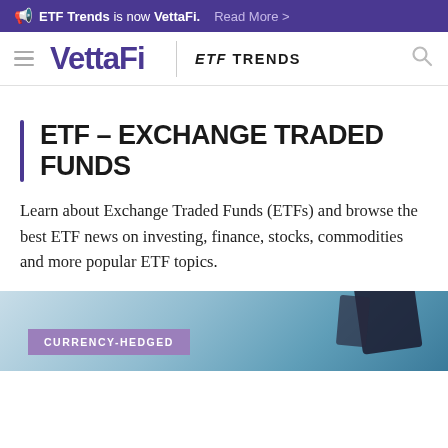ETF Trends is now VettaFi. Read More >
[Figure (logo): VettaFi logo with hamburger menu, ETF TRENDS text and search icon navigation header]
ETF – EXCHANGE TRADED FUNDS
Learn about Exchange Traded Funds (ETFs) and browse the best ETF news on investing, finance, stocks, commodities and more popular ETF topics.
[Figure (photo): Partial image of what appears to be a vehicle or financial device, with a CURRENCY-HEDGED category badge overlay]